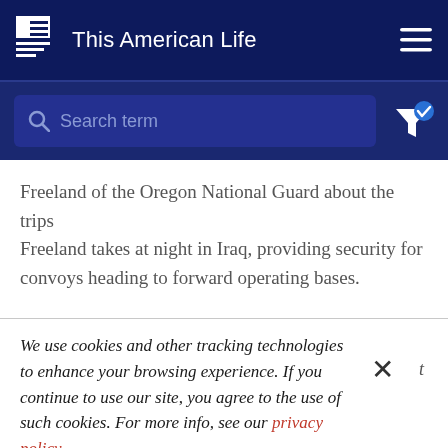This American Life
Search term
Freeland of the Oregon National Guard about the trips Freeland takes at night in Iraq, providing security for convoys heading to forward operating bases.
We use cookies and other tracking technologies to enhance your browsing experience. If you continue to use our site, you agree to the use of such cookies. For more info, see our privacy policy.